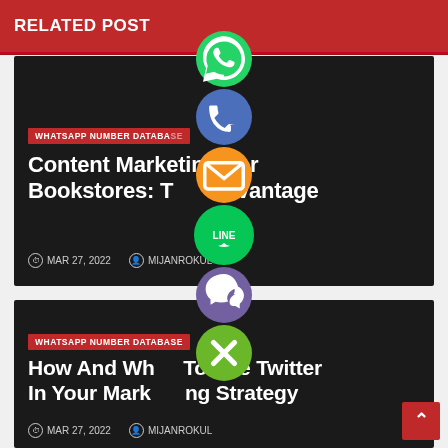RELATED POST
[Figure (screenshot): Social sharing buttons overlay (WhatsApp, Phone, Email, LINE, Viber, Close) stacked vertically in the center of the page]
WHATSAPP NUMBER DATABASE
Content Marketing For Bookstores: The Advantage
MAR 27, 2022   MIJANROKUL
WHATSAPP NUMBER DATABASE
How And Why To Use Twitter In Your Marketing Strategy
MAR 27, 2022   MIJANROKUL